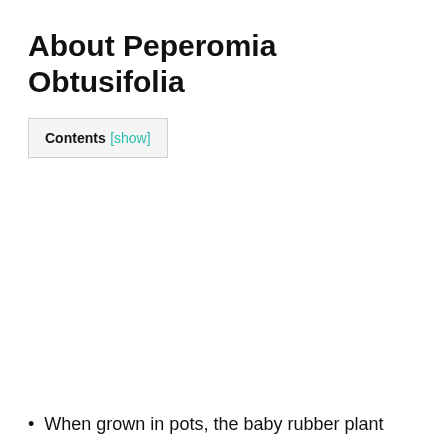About Peperomia Obtusifolia
Contents [show]
When grown in pots, the baby rubber plant